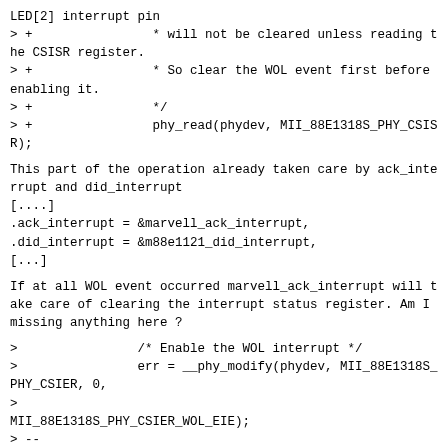LED[2] interrupt pin
> +                * will not be cleared unless reading the CSISR register.
> +                * So clear the WOL event first before enabling it.
> +                */
> +                phy_read(phydev, MII_88E1318S_PHY_CSISR);
This part of the operation already taken care by ack_interrupt and did_interrupt
[....]
.ack_interrupt = &marvell_ack_interrupt,
.did_interrupt = &m88e1121_did_interrupt,
[...]
If at all WOL event occurred marvell_ack_interrupt will take care of clearing the interrupt status register. Am I missing anything here ?
>                /* Enable the WOL interrupt */
>                err = __phy_modify(phydev, MII_88E1318S_PHY_CSIER, 0,
>
MII_88E1318S_PHY_CSIER_WOL_EIE);
> --
> 2.17.0
^ permalink raw reply  [flat|nested] 18+ messages in thread